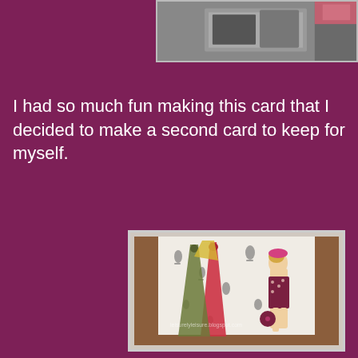[Figure (photo): Top partial photo of a handmade card with dark/grey tones, partially cropped]
I had so much fun making this card that I decided to make a second card to keep for myself.
[Figure (photo): Handmade greeting card featuring a fashion illustration of a blonde woman in a pink hat and polka-dot dress holding a purse, standing next to an open wardrobe/closet with red and olive dresses hanging, on patterned wallpaper background with brown wood frame. Watermark reads leisurelyleisure.blogspot.com]